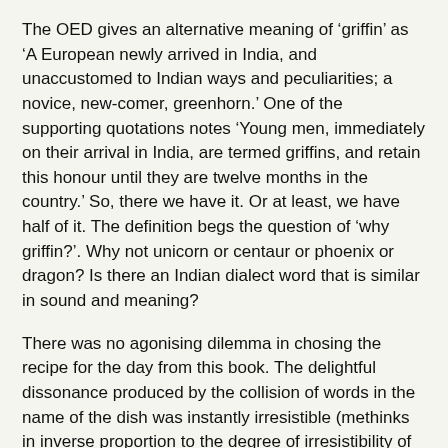The OED gives an alternative meaning of 'griffin' as 'A European newly arrived in India, and unaccustomed to Indian ways and peculiarities; a novice, new-comer, greenhorn.' One of the supporting quotations notes 'Young men, immediately on their arrival in India, are termed griffins, and retain this honour until they are twelve months in the country.' So, there we have it. Or at least, we have half of it. The definition begs the question of 'why griffin?'. Why not unicorn or centaur or phoenix or dragon? Is there an Indian dialect word that is similar in sound and meaning?
There was no agonising dilemma in chosing the recipe for the day from this book. The delightful dissonance produced by the collision of words in the name of the dish was instantly irresistible (methinks in inverse proportion to the degree of irresistibility of the dish itself.)
Liverpool Curry.
à la Parry.
Form two table spoonfuls of curry powder into paste. Cut up a rabbit or fowl into small pieces an inch long, rub them over with the paste, fry the meat with butter, and four onions,